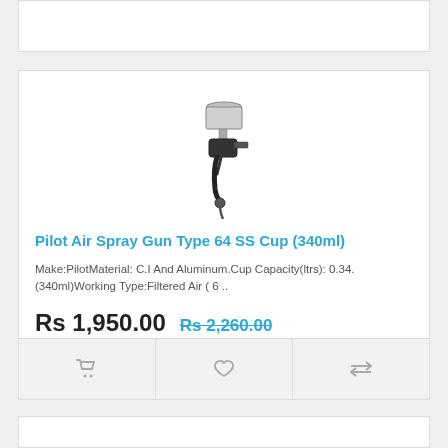[Figure (photo): Partial product card at top of page, cropped, white background]
[Figure (photo): Pilot Air Spray Gun product image - a spray gun with metallic cup on top and black handle]
Pilot Air Spray Gun Type 64 SS Cup (340ml)
Make:PilotMaterial: C.I And Aluminum.Cup Capacity(ltrs): 0.34.(340ml)Working Type:Filtered Air ( 6 ..
Rs 1,950.00   Rs 2,260.00
[Figure (infographic): Action bar with three icon buttons: shopping cart, heart/wishlist, and compare arrows]
[Figure (photo): Partial product card at bottom of page, cropped, white background]